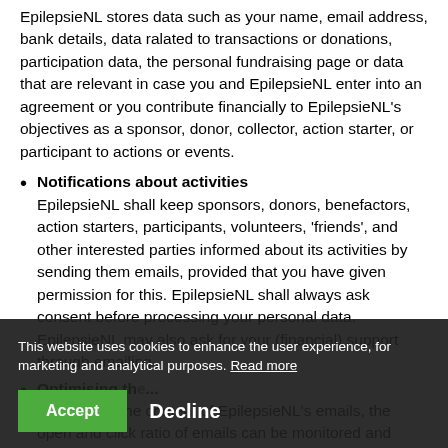EpilepsieNL stores data such as your name, email address, bank details, data ralated to transactions or donations, participation data, the personal fundraising page or data that are relevant in case you and EpilepsieNL enter into an agreement or you contribute financially to EpilepsieNL's objectives as a sponsor, donor, collector, action starter, or participant to actions or events.
Notifications about activities
EpilepsieNL shall keep sponsors, donors, benefactors, action starters, participants, volunteers, 'friends', and other interested parties informed about its activities by sending them emails, provided that you have given permission for this. EpilepsieNL shall always ask consent before processing your personal data. EpilepsieNL may also ask for your (financial) support through emailing.
Optimising th...al...
To optimise the content of EpilepsieNL's emails, the open and click ratio of emails can be monitored and recorded at an individual level. EpilepsieNL does this to
This website uses cookies to enhance the user experience, for marketing and analytical purposes. Read more